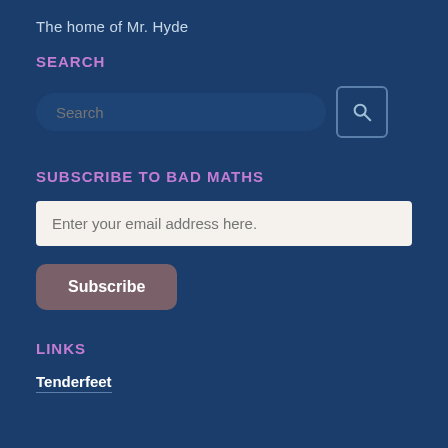The home of Mr. Hyde
SEARCH
[Figure (screenshot): Search input field with rounded corners and a search button icon on the right]
SUBSCRIBE TO BAD MATHS
[Figure (screenshot): Email subscription form with text input 'Enter your email address here.' and a Subscribe button]
LINKS
Tenderfeet